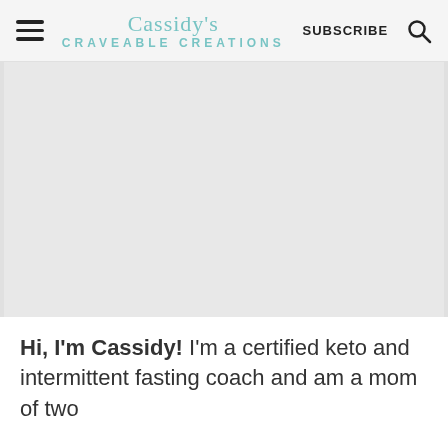Cassidy's Craveable Creations | SUBSCRIBE
[Figure (photo): Large gray placeholder image area representing a photo on the blog page]
Hi, I'm Cassidy! I'm a certified keto and intermittent fasting coach and am a mom of two